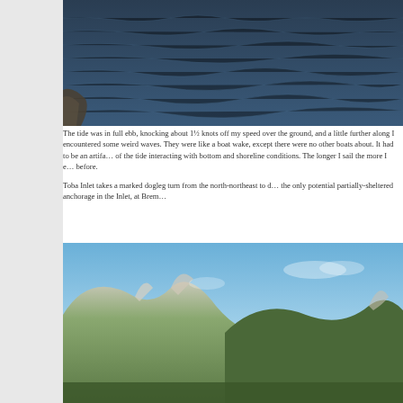[Figure (photo): Ocean/water surface with rippled dark blue water, taken from a boat, partially cropped at left edge showing part of the boat hull.]
The tide was in full ebb, knocking about 1½ knots off my speed over the ground, and a little further along I encountered some weird waves. They were like a boat wake, except there were no other boats about. It had to be an artifact of the tide interacting with bottom and shoreline conditions. The longer I sail the more I encounter things I haven't seen before.

Toba Inlet takes a marked dogleg turn from the north-northeast to due east, and the only potential partially-sheltered anchorage in the Inlet, at Brem...
[Figure (photo): Mountain landscape with green forested slopes under a bright blue sky, partially cropped, showing rugged terrain with light-colored rocky peaks.]